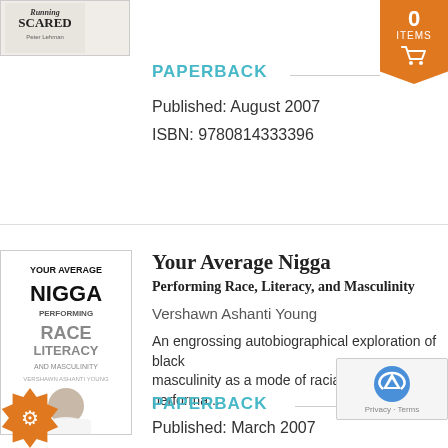[Figure (photo): Book cover for 'Running Scared' by Peter Lehman]
PAPERBACK
Published: August 2007
ISBN: 9780814333396
[Figure (photo): Book cover for 'Your Average Nigga: Performing Race, Literacy, and Masculinity' by Vershawn Ashanti Young]
Your Average Nigga
Performing Race, Literacy, and Masculinity
Vershawn Ashanti Young
An engrossing autobiographical exploration of black masculinity as a mode of racial and verbal performa...
PAPERBACK
Published: March 2007